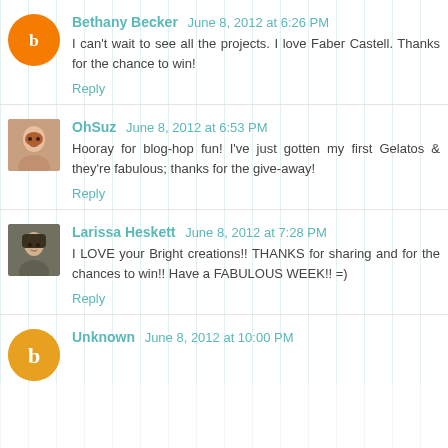Bethany Becker  June 8, 2012 at 6:26 PM
I can't wait to see all the projects. I love Faber Castell. Thanks for the chance to win!
Reply
OhSuz  June 8, 2012 at 6:53 PM
Hooray for blog-hop fun! I've just gotten my first Gelatos & they're fabulous; thanks for the give-away!
Reply
Larissa Heskett  June 8, 2012 at 7:28 PM
I LOVE your Bright creations!! THANKS for sharing and for the chances to win!! Have a FABULOUS WEEK!! =)
Reply
Unknown  June 8, 2012 at 10:00 PM